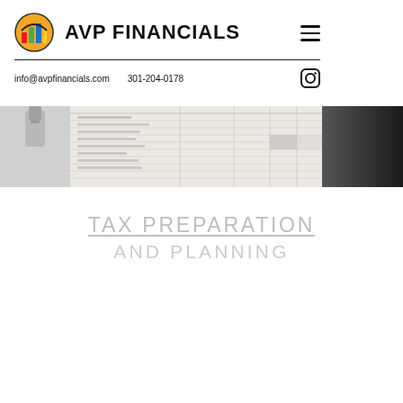[Figure (logo): AVP Financials colorful logo icon with stacked bar chart design in red, orange, green, blue colors]
AVP FINANCIALS
info@avpfinancials.com    301-204-0178
[Figure (photo): Photo of tax/financial form documents on a clipboard, partially visible at right edge is a dark desk surface]
TAX PREPARATION
AND PLANNING